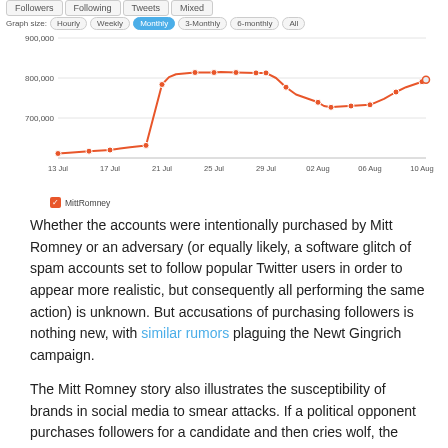[Figure (line-chart): Twitter Followers – MittRomney]
Whether the accounts were intentionally purchased by Mitt Romney or an adversary (or equally likely, a software glitch of spam accounts set to follow popular Twitter users in order to appear more realistic, but consequently all performing the same action) is unknown. But accusations of purchasing followers is nothing new, with similar rumors plaguing the Newt Gingrich campaign.
The Mitt Romney story also illustrates the susceptibility of brands in social media to smear attacks. If a political opponent purchases followers for a candidate and then cries wolf, the